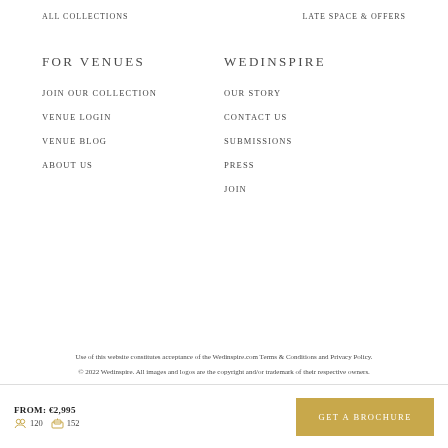ALL COLLECTIONS
LATE SPACE & OFFERS
FOR VENUES
WEDINSPIRE
JOIN OUR COLLECTION
OUR STORY
VENUE LOGIN
CONTACT US
VENUE BLOG
SUBMISSIONS
ABOUT US
PRESS
JOIN
Use of this website constitutes acceptance of the Wedinspire.com Terms & Conditions and Privacy Policy.
© 2022 Wedinspire. All images and logos are the copyright and/or trademark of their respective owners.
FROM: €2,995  120  152  GET A BROCHURE